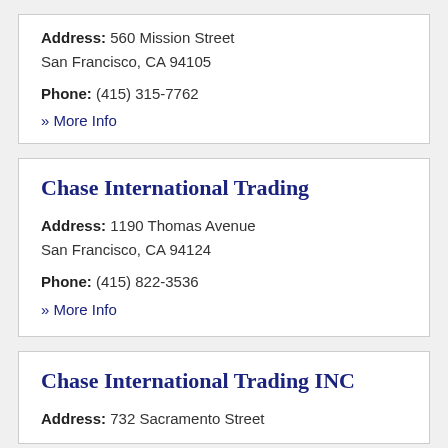Address: 560 Mission Street
San Francisco, CA 94105
Phone: (415) 315-7762
» More Info
Chase International Trading
Address: 1190 Thomas Avenue
San Francisco, CA 94124
Phone: (415) 822-3536
» More Info
Chase International Trading INC
Address: 732 Sacramento Street